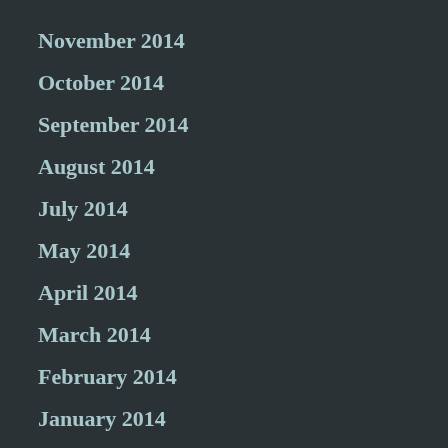November 2014
October 2014
September 2014
August 2014
July 2014
May 2014
April 2014
March 2014
February 2014
January 2014